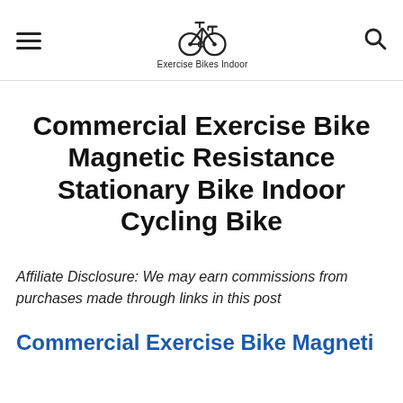Exercise Bikes Indoor
Commercial Exercise Bike Magnetic Resistance Stationary Bike Indoor Cycling Bike
Affiliate Disclosure: We may earn commissions from purchases made through links in this post
Commercial Exercise Bike Magnetic